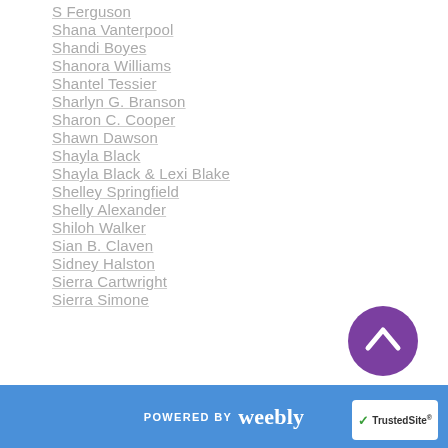S Ferguson
Shana Vanterpool
Shandi Boyes
Shanora Williams
Shantel Tessier
Sharlyn G. Branson
Sharon C. Cooper
Shawn Dawson
Shayla Black
Shayla Black & Lexi Blake
Shelley Springfield
Shelly Alexander
Shiloh Walker
Sian B. Claven
Sidney Halston
Sierra Cartwright
Sierra Simone
[Figure (other): Purple circular scroll-to-top button with upward chevron arrow]
POWERED BY weebly | TrustedSite